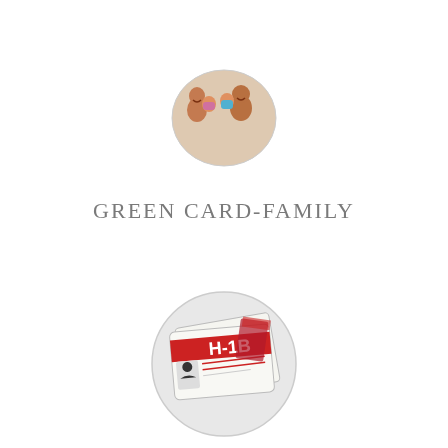[Figure (photo): Circular cropped photo of a smiling family — a woman, a man, and two children, posed together against a light background.]
GREEN CARD-FAMILY
[Figure (photo): Circular cropped photo of an H-1B visa card / identification document with a red band and the label 'H-1B', alongside other immigration documents.]